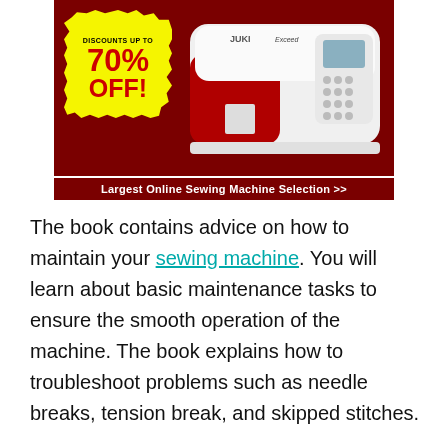[Figure (illustration): Advertisement banner for a sewing machine store. Dark red background with a yellow starburst badge showing 'DISCOUNTS UP TO 70% OFF!' in red text, a white JUKI Exceed sewing machine on the right, and a white banner at the bottom reading 'Largest Online Sewing Machine Selection >>']
The book contains advice on how to maintain your sewing machine. You will learn about basic maintenance tasks to ensure the smooth operation of the machine. The book explains how to troubleshoot problems such as needle breaks, tension break, and skipped stitches.